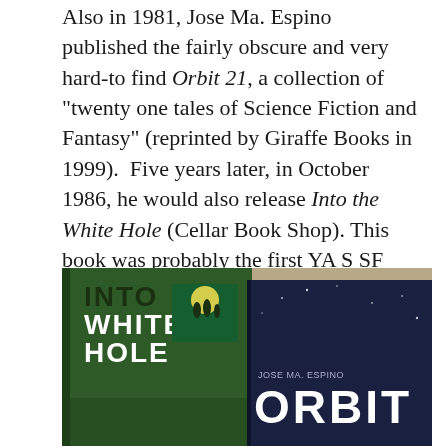Also in 1981, Jose Ma. Espino published the fairly obscure and very hard-to find Orbit 21, a collection of “twenty one tales of Science Fiction and Fantasy” (reprinted by Giraffe Books in 1999).  Five years later, in October 1986, he would also release Into the White Hole (Cellar Book Shop). This book was probably the first YA S SF book ever written by a Filipino. (Note: I have not read either of these works as I am still trying to find copies. Source: Honey de Peralta).
[Figure (photo): Photo of two books side by side on a table surface. On the left is a green book with 'Into White Hole' text. On the right is a dark navy blue book by Jose Ma. Espino titled 'Orbit' (part of Orbit 21).]